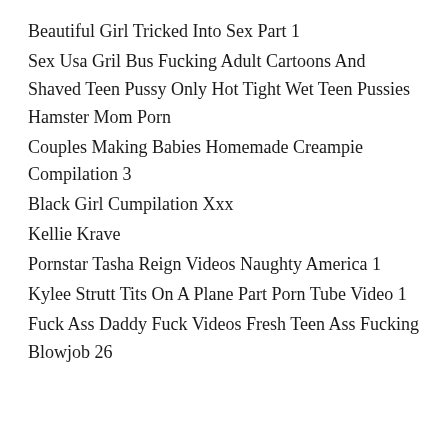Beautiful Girl Tricked Into Sex Part 1
Sex Usa Gril Bus Fucking Adult Cartoons And Shaved Teen Pussy Only Hot Tight Wet Teen Pussies Hamster Mom Porn
Couples Making Babies Homemade Creampie Compilation 3
Black Girl Cumpilation Xxx
Kellie Krave
Pornstar Tasha Reign Videos Naughty America 1
Kylee Strutt Tits On A Plane Part Porn Tube Video 1
Fuck Ass Daddy Fuck Videos Fresh Teen Ass Fucking Blowjob 26